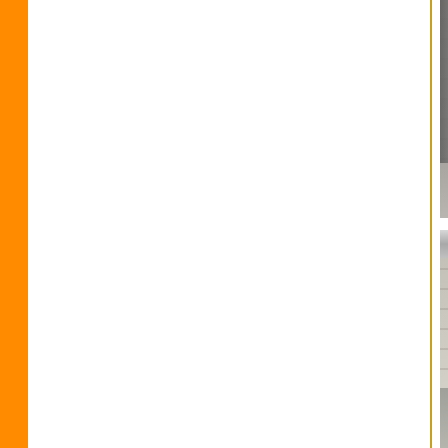[Figure (photo): Interior view of a pit or tank with concrete block walls and floor, metal mesh/grating on the left side, a white pipe fitting visible on the floor, and a blue tarpaulin/bag in the lower left corner. A small red timestamp 'DEC' is visible in the lower right.]
[Figure (photo): Interior view of a pit or tank with concrete block walls, a metallic reflective top edge/ledge, and dark steel pipes on the floor in the lower portion of the image. The pipes include a U-bend configuration and extend horizontally. A small red timestamp 'DEC' is visible in lower right.]